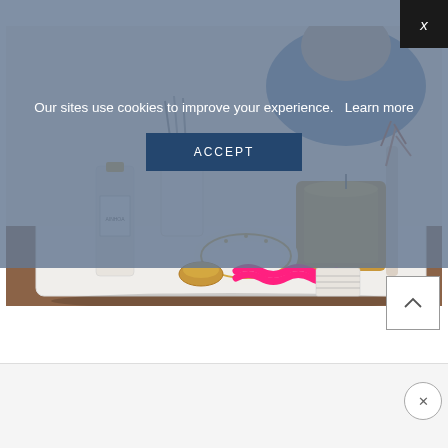[Figure (photo): A styled vanity tray on a wooden surface containing beauty/home items: a gold-capped serum bottle labeled AINHOA, a white ceramic cup with brushes/tools, a white and gold bangle bracelet, a small brass ring dish, a bright pink chain, a gold metallic candle vessel, a small book/card, and a glass vase with dried botanicals in the background. A person in a blue top is partially visible in the background.]
Our sites use cookies to improve your experience.   Learn more
ACCEPT